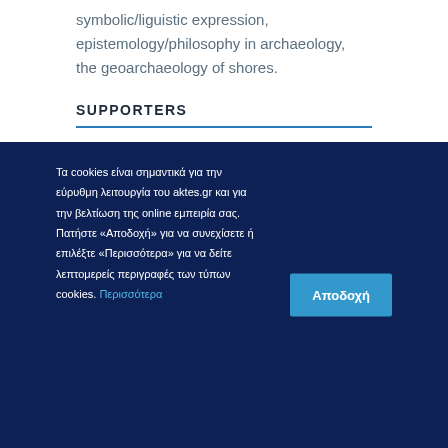symbolic/liguistic expression, epistemology/philosophy in archaeology, the geoarchaeology of shores.
SUPPORTERS
Τα cookies είναι σημαντικά για την εύρυθμη λειτουργία του aktes.gr και για την βελτίωση της online εμπειρία σας. Πατήστε «Αποδοχή» για να συνεχίσετε ή επιλέξτε «Περισσότερα» για να δείτε λεπτομερείς περιγραφές των τύπων cookies. Περισσότερα